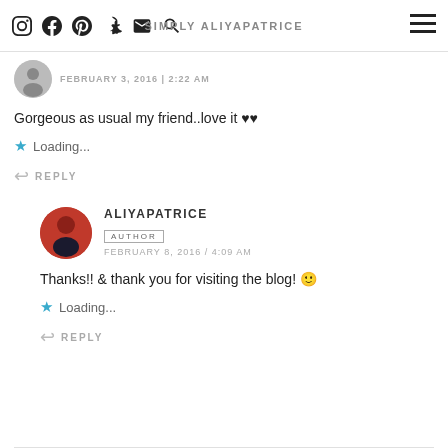SIMPLY ALIYAPATRICE
Gorgeous as usual my friend..love it ♥♥
Loading...
REPLY
ALIYAPATRICE AUTHOR FEBRUARY 8, 2016 / 4:09 AM
Thanks!! & thank you for visiting the blog! 🙂
Loading...
REPLY